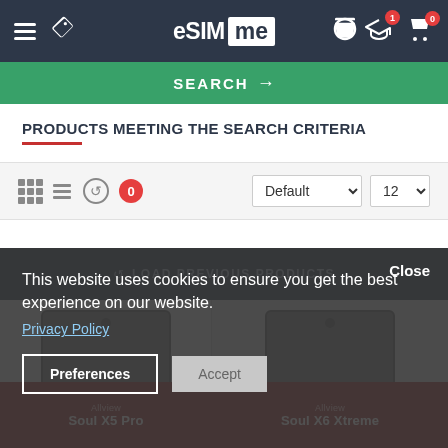eSIM me — navigation bar
SEARCH →
PRODUCTS MEETING THE SEARCH CRITERIA
Filter/sort controls: grid view, list view, compare (0), Default sort, 12 per page
🔄 LOAD PREVIOUS PRODUCTS
Close
This website uses cookies to ensure you get the best experience on our website.
Privacy Policy
Preferences
Accept
[Figure (screenshot): Product card for Allview Soul X5 Pro with eSIM.me badge]
Allview Soul X5 Pro
[Figure (screenshot): Product card for Allview Soul X6 Xtreme with eSIM.me badge]
Allview Soul X6 Xtreme